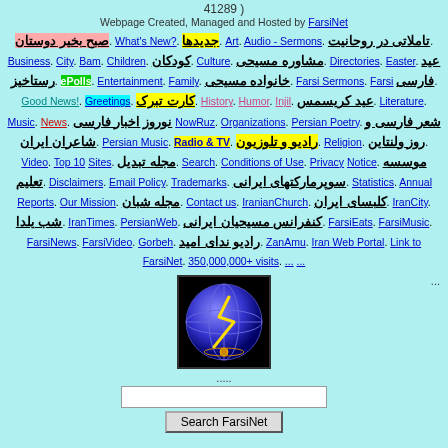41289 )
Webpage Created, Managed and Hosted by FarsiNet
صبح بخیر دوستان. What's New?. جدیدها. Art. Audio - Sermons. تاملاتی در روحانیت. Business. City. Bam. Children. کودکان. Culture. مشاوره مسیحی. Directories. Easter. عید رستاخیز. ePolls. Entertainment. Family. خانواده مسیحی. Farsi Sermons. Farsi فارسی. Good News!. Greetings. کارت تبرک. History. Humor. Injil. عید کریسمس. Literature. Music. News. نوروز. اخبار فارسی NowRuz. Organizations. Persian Poetry. شعر فارسی و شاعران ایران. Persian Music. Radio & TV. رادیو و تلوزیون. Religion. روز ولنتاین. Video. Top 10 Sites. مجله تبدیل. Search. Conditions of Use. Privacy Notice. موسسه تعلیم. Disclaimers. Email Policy. Trademarks. سوپرمارکتهای ایرانی. Statistics. Annual Reports. Our Mission. مجله شبان. Contact us. IranianChurch. کلبسای ایران. IranCity. شب یلدا. IranTimes. PersianWeb. کنفرانس مسیحیان ایرانی. FarsiEats. FarsiMusic. FarsiNews. FarsiVideo. Gorbeh. رادیو ندای امید. ZanAmu. Iran Web Portal. Link to FarsiNet. 350,000,000+ visits. ... ...
[Figure (logo): FarsiNet globe logo with lightning bolt]
.....
Search FarsiNet